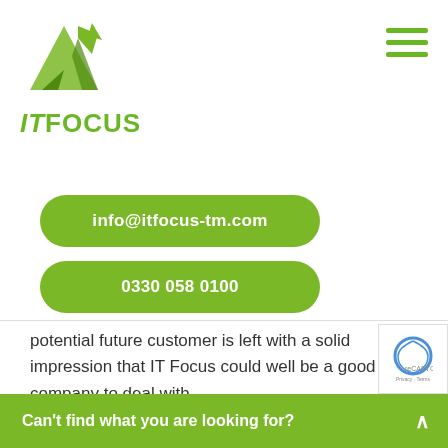[Figure (logo): IT Focus company logo with green triangle/arrow graphic above the text 'ITFOCUS' in green]
info@itfocus-tm.com
0330 058 0100
potential future customer is left with a solid impression that IT Focus could well be a good company to deal with.
Located just outside Bath, in Bradford-on-Avon we cover the whole of the UK and as a consequence, wherever you are based, we woul be deli
Can't find what you are looking for?